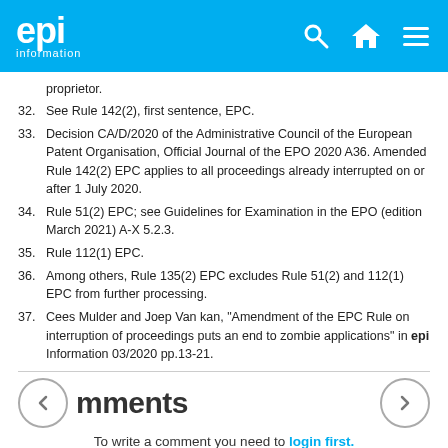epi information
proprietor.
32. See Rule 142(2), first sentence, EPC.
33. Decision CA/D/2020 of the Administrative Council of the European Patent Organisation, Official Journal of the EPO 2020 A36. Amended Rule 142(2) EPC applies to all proceedings already interrupted on or after 1 July 2020.
34. Rule 51(2) EPC; see Guidelines for Examination in the EPO (edition March 2021) A-X 5.2.3.
35. Rule 112(1) EPC.
36. Among others, Rule 135(2) EPC excludes Rule 51(2) and 112(1) EPC from further processing.
37. Cees Mulder and Joep Van kan, "Amendment of the EPC Rule on interruption of proceedings puts an end to zombie applications" in epi Information 03/2020 pp.13-21.
Comments
To write a comment you need to login first.